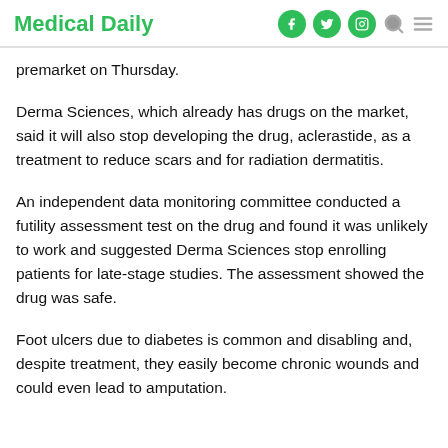Medical Daily
premarket on Thursday.
Derma Sciences, which already has drugs on the market, said it will also stop developing the drug, aclerastide, as a treatment to reduce scars and for radiation dermatitis.
An independent data monitoring committee conducted a futility assessment test on the drug and found it was unlikely to work and suggested Derma Sciences stop enrolling patients for late-stage studies. The assessment showed the drug was safe.
Foot ulcers due to diabetes is common and disabling and, despite treatment, they easily become chronic wounds and could even lead to amputation.